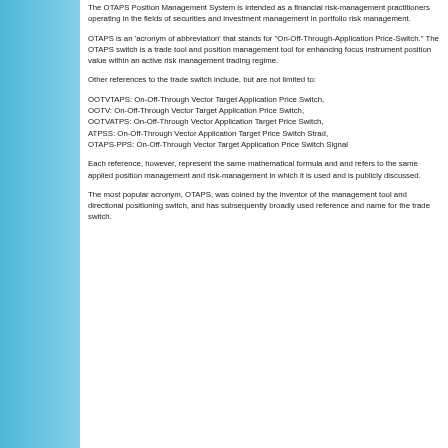The OTAPS Position Management System is intended as a financial risk-management practitioners operating in the fields of securities and investment management in portfolio risk management.
OTAPS is an 'acronym of abbreviation' that stands for "On-Off-Through-Application Price-Switch." The OTAPS switch is a trade tool and position management tool for enhancing focus instrument position value within an active risk management trading regime.
Other references to the trade switch include, but are not limited to:
OOTVTAPS: On-Off-Through Vector Target Application Price Switch,
OOTV: On-Off-Through Vector Target Application Price Switch,
OOTVATPS: On-Off-Through Vector Application Target Price Switch,
ATPSS: On-Off-Through Vector Application Target Price Switch Strad,
OTAPS-PPS: On-Off-Through Vector Target Application Price Switch Signal
Each reference, however, represent the same mathematical formula and and refers to the same applied position management and risk-management in which it is used and is publicly discussed.
The most popular acronym, OTAPS, was coined by the inventor of the management tool and directional positioning switch, and has subsequently broadly used reference and name for the trade switch.